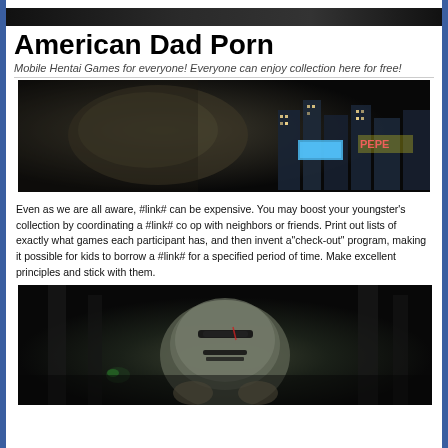[Figure (photo): Dark top banner image strip]
American Dad Porn
Mobile Hentai Games for everyone! Everyone can enjoy collection here for free!
[Figure (photo): Dark cinematic scene showing a large creature/monster against a nighttime city skyline with glowing signs including 'PEPE']
Even as we are all aware, #link# can be expensive. You may boost your youngster’s collection by coordinating a #link# co op with neighbors or friends. Print out lists of exactly what games each participant has, and then invent a“check-out” program, making it possible for kids to borrow a #link# for a specified period of time. Make excellent principles and stick with them.
[Figure (photo): Dark scene showing an armored creature/monster face in a gritty industrial environment]